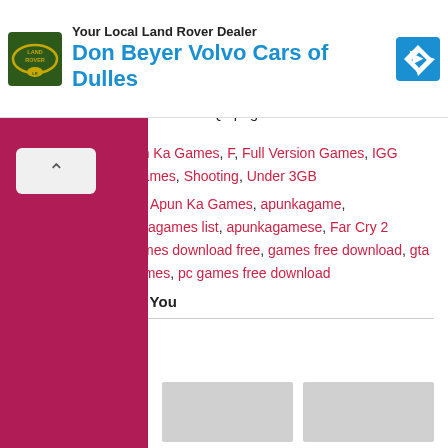[Figure (advertisement): Land Rover / Don Beyer Volvo Cars of Dulles advertisement banner with logo and navigation icon]
line because it is our first priority to upload only working and tested games. We test every single game before uploading but but if you encountered some error like Runtime Errors or Missing dll files or others errors during installation than you must need read this FAQs page to fix it.
Filed in: Action, Apun Ka Games, F, Full Version Games, IGG Games, Ocean Of Games, Shooting, Under 3GB
Tags: apun ka game, Apun Ka Games, apunkagame, apunkagames, apunkagames list, apunkagamese, Far Cry 2 Fortune's Edition, games download free, games free download, gta vice city, ocean of games, pc games free download
Recommended for You
[Figure (photo): Two gray placeholder thumbnail images for recommended content]